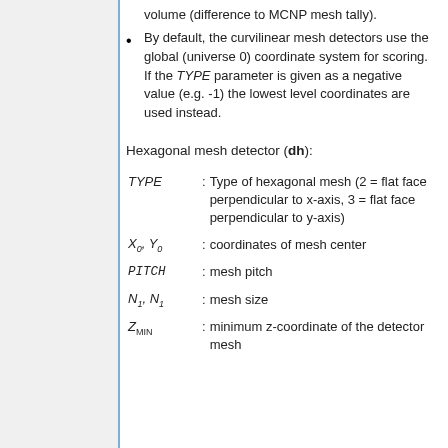volume (difference to MCNP mesh tally).
By default, the curvilinear mesh detectors use the global (universe 0) coordinate system for scoring. If the TYPE parameter is given as a negative value (e.g. -1) the lowest level coordinates are used instead.
Hexagonal mesh detector (dh):
| Parameter | Description |
| --- | --- |
| TYPE | : Type of hexagonal mesh (2 = flat face perpendicular to x-axis, 3 = flat face perpendicular to y-axis) |
| X0, Y0 | : coordinates of mesh center |
| PITCH | : mesh pitch |
| N1, N1 | : mesh size |
| ZMIN | : minimum z-coordinate of the detector mesh |